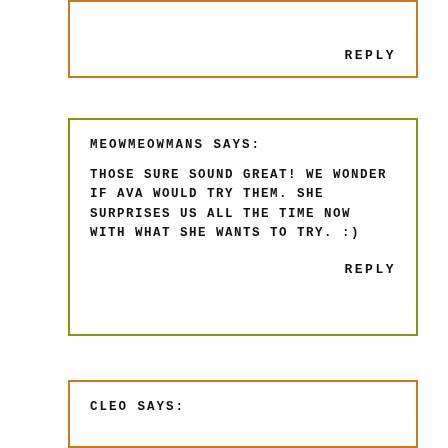REPLY
MEOWMEOWMANS SAYS:

THOSE SURE SOUND GREAT! WE WONDER IF AVA WOULD TRY THEM. SHE SURPRISES US ALL THE TIME NOW WITH WHAT SHE WANTS TO TRY. :)

REPLY
CLEO SAYS: